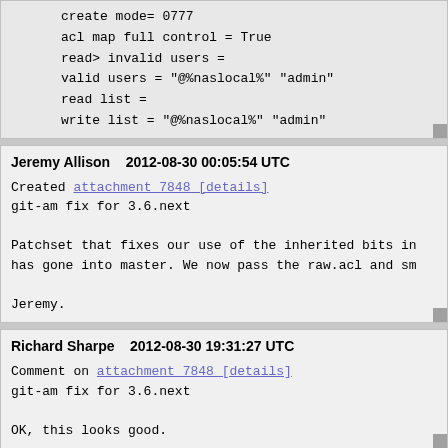create mode= 0777
acl map full control = True
read only = Yes
invalid users =
valid users = "@%naslocal%" "admin"
read list =
write list = "@%naslocal%" "admin"
Jeremy Allison    2012-08-30 00:05:54 UTC
Created attachment 7848 [details]
git-am fix for 3.6.next

Patchset that fixes our use of the inherited bits in
has gone into master. We now pass the raw.acl and sm

Jeremy.
Richard Sharpe    2012-08-30 19:31:27 UTC
Comment on attachment 7848 [details]
git-am fix for 3.6.next

OK, this looks good.
Richard Sharpe    2012-08-30 19:31:57 UTC